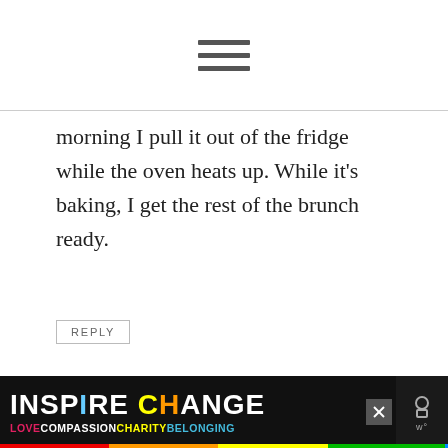hamburger menu icon
morning I pull it out of the fridge while the oven heats up. While it's baking, I get the rest of the brunch ready.
REPLY
Sue parker says
May 24, 2018 at 1:48 pm
I want to bake this the night before. Going
[Figure (infographic): INSPIRE CHANGE advertisement banner with rainbow strip and LOVE COMPASSION CHARITY BELONGING text]